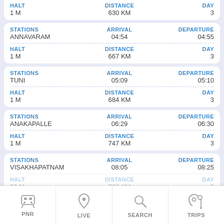| HALT | DISTANCE | DAY |
| --- | --- | --- |
| 1 M | 630 KM | 3 |
| STATIONS | ARRIVAL | DEPARTURE |
| --- | --- | --- |
| ANNAVARAM | 04:54 | 04:55 |
| HALT | DISTANCE | DAY |
| --- | --- | --- |
| 1 M | 667 KM | 3 |
| STATIONS | ARRIVAL | DEPARTURE |
| --- | --- | --- |
| TUNI | 05:09 | 05:10 |
| HALT | DISTANCE | DAY |
| --- | --- | --- |
| 1 M | 684 KM | 3 |
| STATIONS | ARRIVAL | DEPARTURE |
| --- | --- | --- |
| ANAKAPALLE | 06:29 | 06:30 |
| HALT | DISTANCE | DAY |
| --- | --- | --- |
| 1 M | 747 KM | 3 |
| STATIONS | ARRIVAL | DEPARTURE |
| --- | --- | --- |
| VISAKHAPATNAM | 08:05 | 08:25 |
| HALT | DISTANCE | DAY |
| --- | --- | --- |
| 20 M | 780 KM | 3 |
PNR | LIVE | SEARCH | TRIPS